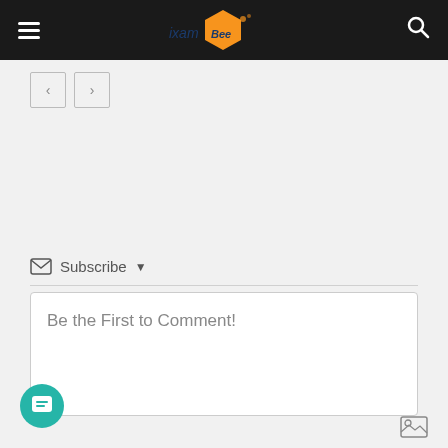[Figure (logo): ixamBee logo with orange hexagon and blue text in dark header nav bar with hamburger menu and search icon]
[Figure (other): Navigation prev/next arrow buttons]
Subscribe ▾
Be the First to Comment!
[Figure (other): Teal chat FAB button with message icon at bottom left]
[Figure (other): Image/photo icon at bottom right]